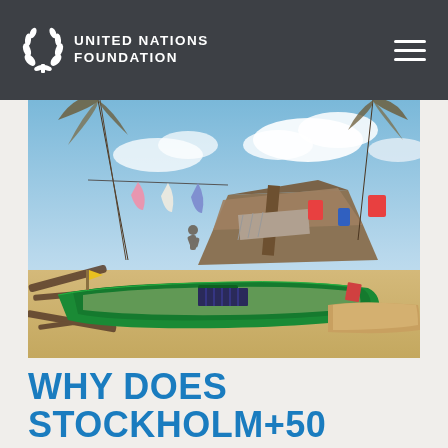UNITED NATIONS FOUNDATION
[Figure (photo): Photograph showing storm/typhoon damage with a green wooden boat stranded on sandy beach amid destroyed structures, fallen palm trees, scattered debris, and hanging laundry items on damaged trees under a partly cloudy sky.]
WHY DOES STOCKHOLM+50 MATTER?